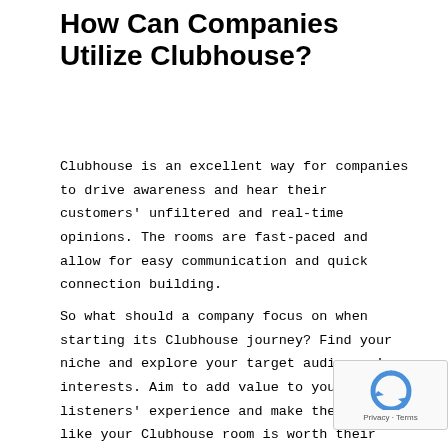How Can Companies Utilize Clubhouse?
Clubhouse is an excellent way for companies to drive awareness and hear their customers' unfiltered and real-time opinions. The rooms are fast-paced and allow for easy communication and quick connection building.
So what should a company focus on when starting its Clubhouse journey? Find your niche and explore your target audiences' interests. Aim to add value to your listeners' experience and make them feel like your Clubhouse room is worth their time. We've already seen companies such as Milk Bar and Restaurant Brands International utilize the platform to speak on topics related to their brands including conversations on earnings ca…